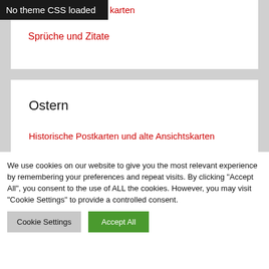No theme CSS loaded
karten
Sprüche und Zitate
Ostern
Historische Postkarten und alte Ansichtskarten
Kostenlose Grusskarten
Lizenzfreie Fotos
We use cookies on our website to give you the most relevant experience by remembering your preferences and repeat visits. By clicking "Accept All", you consent to the use of ALL the cookies. However, you may visit "Cookie Settings" to provide a controlled consent.
Cookie Settings | Accept All